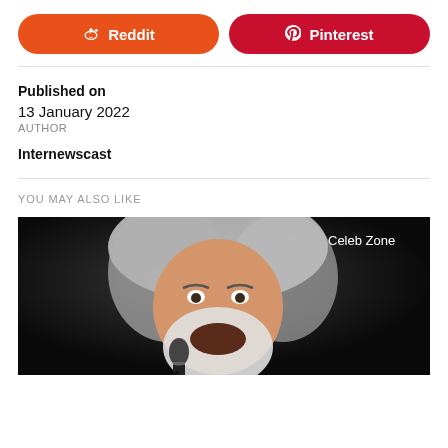[Figure (other): Reddit share button (orange rounded rectangle with Reddit alien icon and text 'Reddit')]
[Figure (other): Pinterest share button (dark red rounded rectangle with Pinterest P icon and text 'Pinterest')]
Published on
13 January 2022
AUTHOR
Internewscast
YOU MAY ALSO LIKE
[Figure (photo): Photo of an elderly white-haired bearded man singing into a microphone, smiling, dark background. 'Celeb Zone' label in top-right corner.]